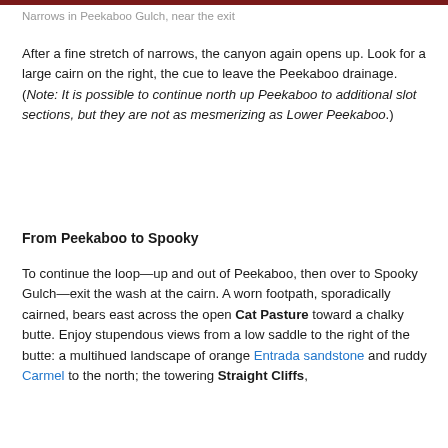Narrows in Peekaboo Gulch, near the exit
After a fine stretch of narrows, the canyon again opens up. Look for a large cairn on the right, the cue to leave the Peekaboo drainage. (Note: It is possible to continue north up Peekaboo to additional slot sections, but they are not as mesmerizing as Lower Peekaboo.)
From Peekaboo to Spooky
To continue the loop—up and out of Peekaboo, then over to Spooky Gulch—exit the wash at the cairn. A worn footpath, sporadically cairned, bears east across the open Cat Pasture toward a chalky butte. Enjoy stupendous views from a low saddle to the right of the butte: a multihued landscape of orange Entrada sandstone and ruddy Carmel to the north; the towering Straight Cliffs,